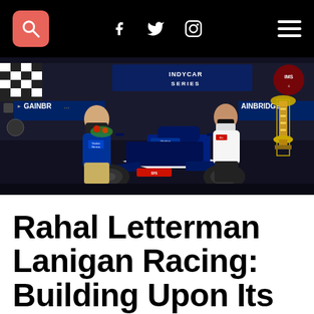Navigation bar with search, social icons (Facebook, Twitter, Instagram), and menu
[Figure (photo): Two men posing with an IndyCar racing car (number 30) at what appears to be a victory celebration. The car has Rahal Letterman Lanigan Racing livery. A trophy is visible on the right. INDYCAR SERIES and GAINBRIDGE signage visible in the background. Both men are wearing face masks.]
Rahal Letterman Lanigan Racing: Building Upon Its